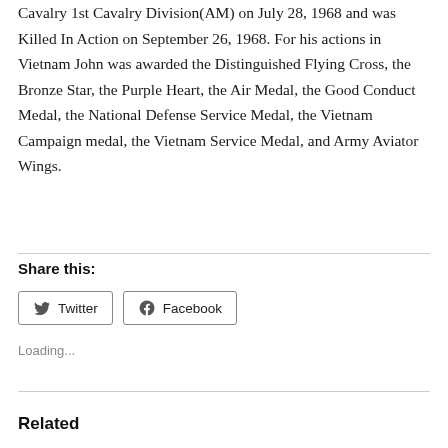Cavalry 1st Cavalry Division(AM) on July 28, 1968 and was Killed In Action on September 26, 1968. For his actions in Vietnam John was awarded the Distinguished Flying Cross, the Bronze Star, the Purple Heart, the Air Medal, the Good Conduct Medal, the National Defense Service Medal, the Vietnam Campaign medal, the Vietnam Service Medal, and Army Aviator Wings.
Share this:
Twitter  Facebook
Loading...
Related